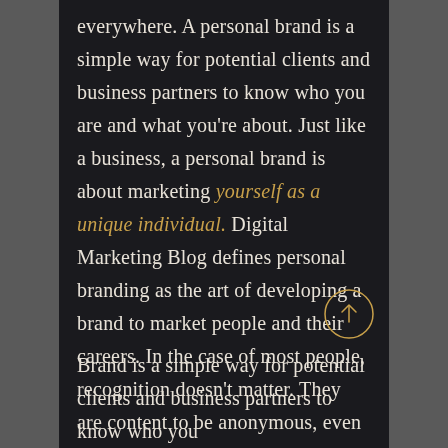everywhere. A personal brand is a simple way for potential clients and business partners to know who you are and what you're about. Just like a business, a personal brand is about marketing yourself as a unique individual. Digital Marketing Blog defines personal branding as the art of developing a brand to market people and their careers. In the case of most people, recognition doesn't matter. They are content to be anonymous, even seeking it out actively.
Brand is a simple way for potential clients and business partners to know who you